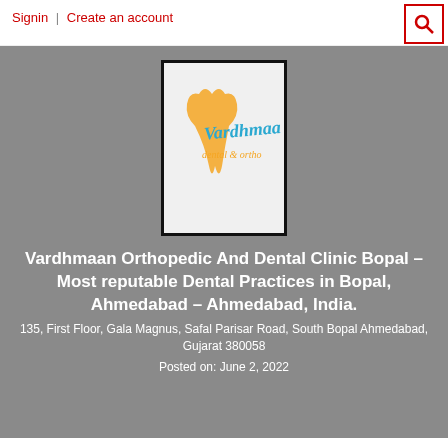Signin | Create an account
[Figure (logo): Vardhmaan dental clinic logo with orange tooth graphic and teal cursive script text 'Vardhman']
Vardhmaan Orthopedic And Dental Clinic Bopal – Most reputable Dental Practices in Bopal, Ahmedabad – Ahmedabad, India.
135, First Floor, Gala Magnus, Safal Parisar Road, South Bopal Ahmedabad, Gujarat 380058
Posted on: June 2, 2022